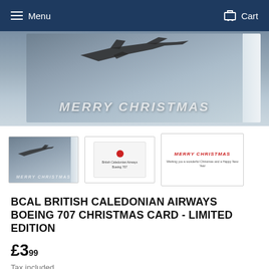Menu   Cart
[Figure (photo): A Christmas card shown propped open showing a Boeing 707 aircraft flying through cloudy sky with 'MERRY CHRISTMAS' text overlay]
[Figure (photo): Three thumbnail images of the Christmas card product: front view with plane, back/envelope view, and inside message view showing 'MERRY CHRISTMAS' in red]
BCAL BRITISH CALEDONIAN AIRWAYS BOEING 707 CHRISTMAS CARD - LIMITED EDITION
£3.99
Tax included.